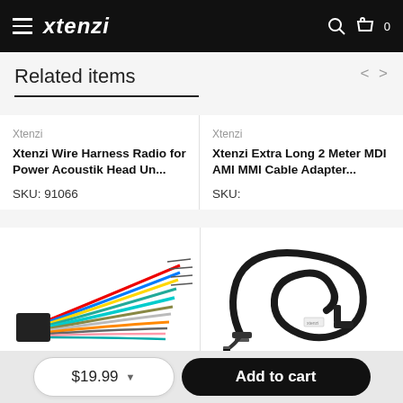Xtenzi (logo) — navigation header with hamburger menu, search, cart (0)
Related items
Xtenzi
Xtenzi Wire Harness Radio for Power Acoustik Head Un...
SKU: 91066
[Figure (photo): Wire harness connector with multiple colored wires fanning out]
Xtenzi
Xtenzi Extra Long 2 Meter MDI AMI MMI Cable Adapter...
SKU:
[Figure (photo): Black cable adapter coiled, MDI AMI MMI connector]
$19.99
Add to cart